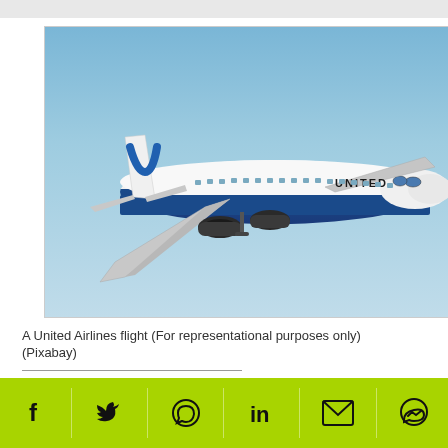[Figure (photo): A United Airlines Boeing 767 aircraft in flight against a blue sky, showing the blue and white livery with the United logo on the tail and fuselage.]
A United Airlines flight (For representational purposes only)
(Pixabay)
The passengers refused to show tickets to business